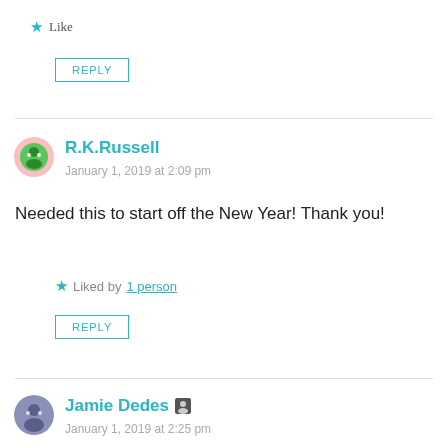★ Like
REPLY
R.K.Russell
January 1, 2019 at 2:09 pm
Needed this to start off the New Year! Thank you!
★ Liked by 1 person
REPLY
Jamie Dedes
January 1, 2019 at 2:25 pm